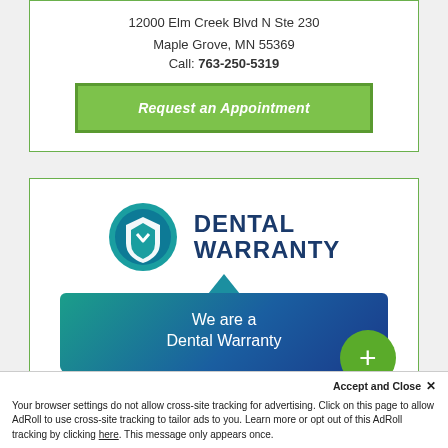12000 Elm Creek Blvd N Ste 230
Maple Grove, MN 55369
Call: 763-250-5319
Request an Appointment
[Figure (logo): Dental Warranty logo with teal shield icon and dark blue bold text reading DENTAL WARRANTY]
[Figure (infographic): Teal/blue gradient banner with triangular notch at top and text 'We are a Dental Warranty' and a green circle with plus sign at bottom right]
Accept and Close ×
Your browser settings do not allow cross-site tracking for advertising. Click on this page to allow AdRoll to use cross-site tracking to tailor ads to you. Learn more or opt out of this AdRoll tracking by clicking here. This message only appears once.